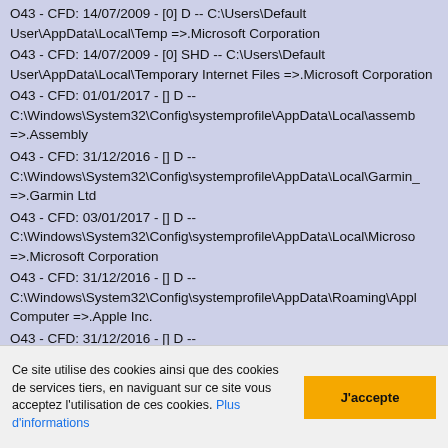O43 - CFD: 14/07/2009 - [0] D -- C:\Users\Default User\AppData\Local\Temp =>.Microsoft Corporation
O43 - CFD: 14/07/2009 - [0] SHD -- C:\Users\Default User\AppData\Local\Temporary Internet Files =>.Microsoft Corporation
O43 - CFD: 01/01/2017 - [] D -- C:\Windows\System32\Config\systemprofile\AppData\Local\assemb =>.Assembly
O43 - CFD: 31/12/2016 - [] D -- C:\Windows\System32\Config\systemprofile\AppData\Local\Garmin_ =>.Garmin Ltd
O43 - CFD: 03/01/2017 - [] D -- C:\Windows\System32\Config\systemprofile\AppData\Local\Microso =>.Microsoft Corporation
O43 - CFD: 31/12/2016 - [] D -- C:\Windows\System32\Config\systemprofile\AppData\Roaming\Appl Computer =>.Apple Inc.
O43 - CFD: 31/12/2016 - [] D -- C:\Windows\System32\Config\systemprofile\AppData\Roaming\Foxi Software =>.Foxit Software
Ce site utilise des cookies ainsi que des cookies de services tiers, en naviguant sur ce site vous acceptez l'utilisation de ces cookies. Plus d'informations